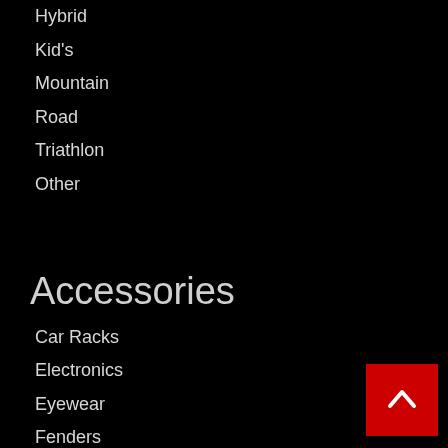Hybrid
Kid's
Mountain
Road
Triathlon
Other
Accessories
Car Racks
Electronics
Eyewear
Fenders
Hydration
Lighting
Locks/Security
Nutrition
Packs, Racks & Baskets